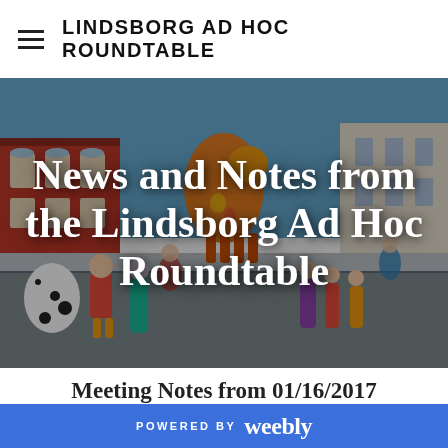LINDSBORG AD HOC ROUNDTABLE
[Figure (photo): Street scene in Lindsborg, Kansas showing colorful painted Dala horse sculptures and figures lining Main Street, with red brick buildings and crowds of people. In the center background is a large orange painted Dala horse. Overlaid white text reads 'News and Notes from the Lindsborg Ad Hoc Roundtable'.]
News and Notes from the Lindsborg Ad Hoc Roundtable
Meeting Notes from 01/16/2017
1/16/2017   0 Comments
POWERED BY weebly